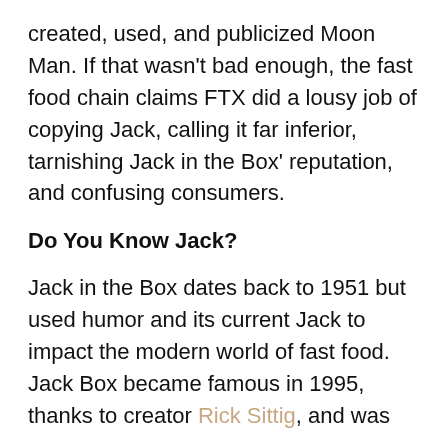created, used, and publicized Moon Man. If that wasn't bad enough, the fast food chain claims FTX did a lousy job of copying Jack, calling it far inferior, tarnishing Jack in the Box' reputation, and confusing consumers.
Do You Know Jack?
Jack in the Box dates back to 1951 but used humor and its current Jack to impact the modern world of fast food. Jack Box became famous in 1995, thanks to creator Rick Sittig, and was